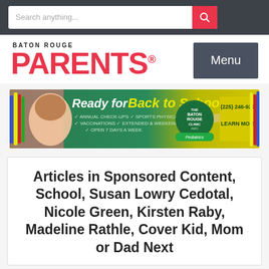Search anything...
[Figure (logo): Baton Rouge Parents magazine logo with Menu button]
[Figure (infographic): Ready for Back to School? advertisement banner — The Baton Rouge Clinic AMC Pediatrics. Annual check-ups, sports physicals, vaccinations, extended & weekend hours, open 7 days a week. (225) 246-9290 Learn More]
Articles in Sponsored Content, School, Susan Lowry Cedotal, Nicole Green, Kirsten Raby, Madeline Rathle, Cover Kid, Mom or Dad Next